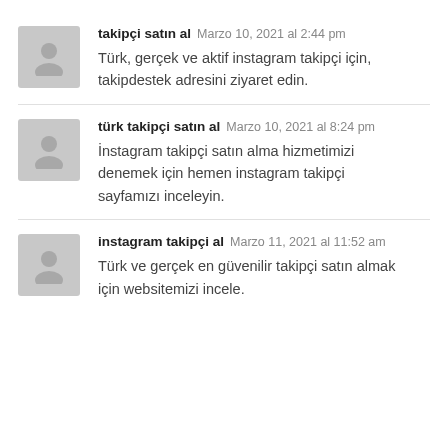takipçi satın al  Marzo 10, 2021 al 2:44 pm
Türk, gerçek ve aktif instagram takipçi için, takipdestek adresini ziyaret edin.
türk takipçi satın al  Marzo 10, 2021 al 8:24 pm
İnstagram takipçi satın alma hizmetimizi denemek için hemen instagram takipçi sayfamızı inceleyin.
instagram takipçi al  Marzo 11, 2021 al 11:52 am
Türk ve gerçek en güvenilir takipçi satın almak için websitemizi incele.